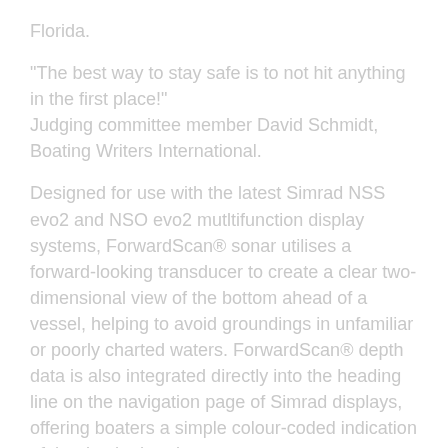Florida.
“The best way to stay safe is to not hit anything in the first place!”
Judging committee member David Schmidt, Boating Writers International.
Designed for use with the latest Simrad NSS evo2 and NSO evo2 mutltifunction display systems, ForwardScan® sonar utilises a forward-looking transducer to create a clear two-dimensional view of the bottom ahead of a vessel, helping to avoid groundings in unfamiliar or poorly charted waters. ForwardScan® depth data is also integrated directly into the heading line on the navigation page of Simrad displays, offering boaters a simple colour-coded indication of the depth ahead.
ForwardScan® sonar offers easy installation on almost